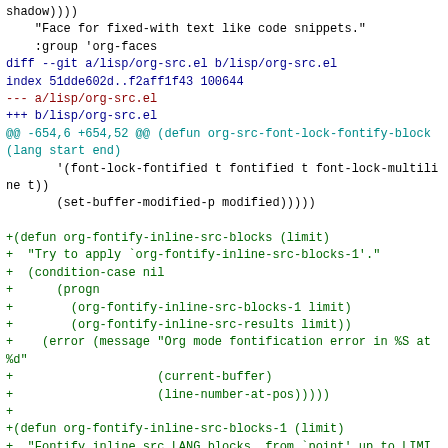shadow))))
    "Face for fixed-with text like code snippets."
    :group 'org-faces
diff --git a/lisp/org-src.el b/lisp/org-src.el
index 51dde602d..f2aff1f43 100644
--- a/lisp/org-src.el
+++ b/lisp/org-src.el
@@ -654,6 +654,52 @@ (defun org-src-font-lock-fontify-block (lang start end)
        '(font-lock-fontified t fontified t font-lock-multiline t))
        (set-buffer-modified-p modified)))))

+(defun org-fontify-inline-src-blocks (limit)
+  "Try to apply `org-fontify-inline-src-blocks-1'."
+  (condition-case nil
+      (progn
+        (org-fontify-inline-src-blocks-1 limit)
+        (org-fontify-inline-src-results limit))
+    (error (message "Org mode fontification error in %S at %d"
+                    (current-buffer)
+                    (line-number-at-pos)))))
+
+(defun org-fontify-inline-src-blocks-1 (limit)
+  "Fontify inline src_LANG blocks, from `point' up to LIMIT."
+  (let ((case-fold-search t)
+        (initial-point (point)))
+    (while (re-search-forward "\\<src_\\([^
+...